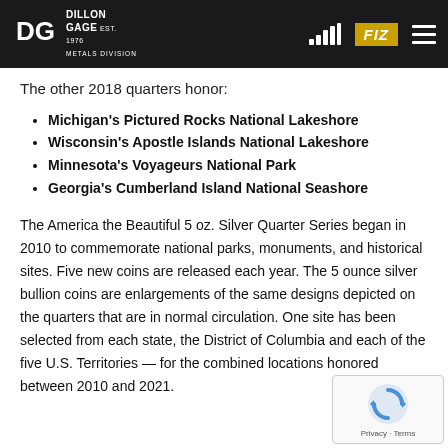Dillon Gage Metals Division — FIZ
The other 2018 quarters honor:
Michigan's Pictured Rocks National Lakeshore
Wisconsin's Apostle Islands National Lakeshore
Minnesota's Voyageurs National Park
Georgia's Cumberland Island National Seashore
The America the Beautiful 5 oz. Silver Quarter Series began in 2010 to commemorate national parks, monuments, and historical sites. Five new coins are released each year. The 5 ounce silver bullion coins are enlargements of the same designs depicted on the quarters that are in normal circulation. One site has been selected from each state, the District of Columbia and each of the five U.S. Territories — for the combined locations honored between 2010 and 2021.